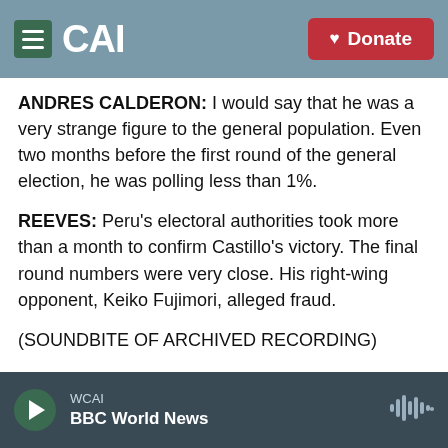CAI | Donate
ANDRES CALDERON: I would say that he was a very strange figure to the general population. Even two months before the first round of the general election, he was polling less than 1%.
REEVES: Peru's electoral authorities took more than a month to confirm Castillo's victory. The final round numbers were very close. His right-wing opponent, Keiko Fujimori, alleged fraud.
(SOUNDBITE OF ARCHIVED RECORDING)
PRESIDENT PEDRO CASTILLO: (Speaking Spanish).
WCAI | BBC World News